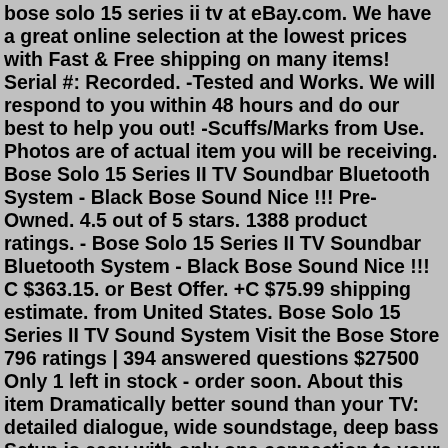bose solo 15 series ii tv at eBay.com. We have a great online selection at the lowest prices with Fast & Free shipping on many items! Serial #: Recorded. -Tested and Works. We will respond to you within 48 hours and do our best to help you out! -Scuffs/Marks from Use. Photos are of actual item you will be receiving. Bose Solo 15 Series II TV Soundbar Bluetooth System - Black Bose Sound Nice !!! Pre-Owned. 4.5 out of 5 stars. 1388 product ratings. - Bose Solo 15 Series II TV Soundbar Bluetooth System - Black Bose Sound Nice !!! C $363.15. or Best Offer. +C $75.99 shipping estimate. from United States. Bose Solo 15 Series II TV Sound System Visit the Bose Store 796 ratings | 394 answered questions $27500 Only 1 left in stock - order soon. About this item Dramatically better sound than your TV: detailed dialogue, wide soundstage, deep bass Setup is easy with only one connection to your TVBose Solo 15 Tv Sound System. Get a great deal with this online auction presented by PropertyRoom.com on behalf of a law enforcement or public agency client. Bose Solo 15 tv sound system: